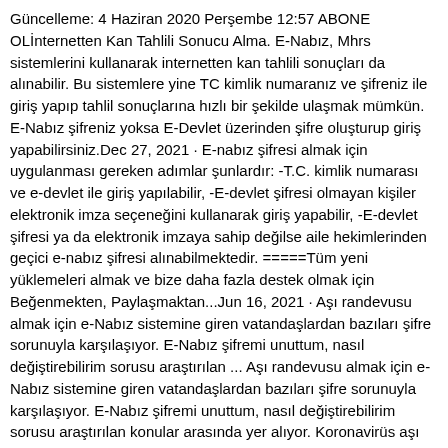Güncelleme: 4 Haziran 2020 Perşembe 12:57 ABONE OLİnternetten Kan Tahlili Sonucu Alma. E-Nabız, Mhrs sistemlerini kullanarak internetten kan tahlili sonuçları da alınabilir. Bu sistemlere yine TC kimlik numaranız ve şifreniz ile giriş yapıp tahlil sonuçlarına hızlı bir şekilde ulaşmak mümkün. E-Nabız şifreniz yoksa E-Devlet üzerinden şifre oluşturup giriş yapabilirsiniz.Dec 27, 2021 · E-nabız şifresi almak için uygulanması gereken adımlar şunlardır: -T.C. kimlik numarası ve e-devlet ile giriş yapılabilir, -E-devlet şifresi olmayan kişiler elektronik imza seçeneğini kullanarak giriş yapabilir, -E-devlet şifresi ya da elektronik imzaya sahip değilse aile hekimlerinden geçici e-nabız şifresi alınabilmektedir. =====Tüm yeni yüklemeleri almak ve bize daha fazla destek olmak için Beğenmekten, Paylaşmaktan...Jun 16, 2021 · Aşı randevusu almak için e-Nabız sistemine giren vatandaşlardan bazıları şifre sorunuyla karşılaşıyor. E-Nabız şifremi unuttum, nasıl değiştirebilirim sorusu araştırılan ... Aşı randevusu almak için e-Nabız sistemine giren vatandaşlardan bazıları şifre sorunuyla karşılaşıyor. E-Nabız şifremi unuttum, nasıl değiştirebilirim sorusu araştırılan konular arasında yer alıyor. Koronavirüs aşı randevusu almak için kullanılan e-Nabız sistemi bugünlerde oldukça yoğun.E-Devlet uygulaması olan E-Nabız Kişisel Sağlık Sistemine nasıl giriş yapıp, yeni kayıt oluşturabileceğinizi anlatıyoruz. e-Nabız sistemine e-Devlet kapısı üzerinden giriş yapılabilecek. Her türlü sağlık kaydınızı 24 saat takip etmenize olanak sağlayan e-Nabız